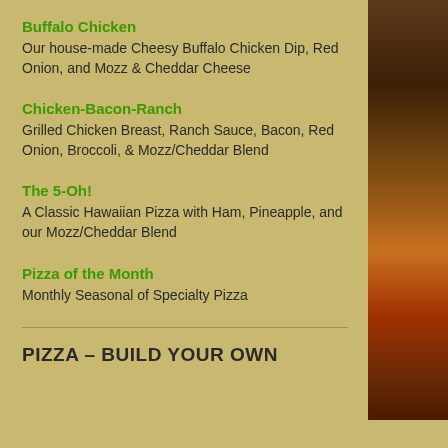Buffalo Chicken
Our house-made Cheesy Buffalo Chicken Dip, Red Onion, and Mozz & Cheddar Cheese
Chicken-Bacon-Ranch
Grilled Chicken Breast, Ranch Sauce, Bacon, Red Onion, Broccoli, & Mozz/Cheddar Blend
The 5-Oh!
A Classic Hawaiian Pizza with Ham, Pineapple, and our Mozz/Cheddar Blend
Pizza of the Month
Monthly Seasonal of Specialty Pizza
PIZZA – BUILD YOUR OWN